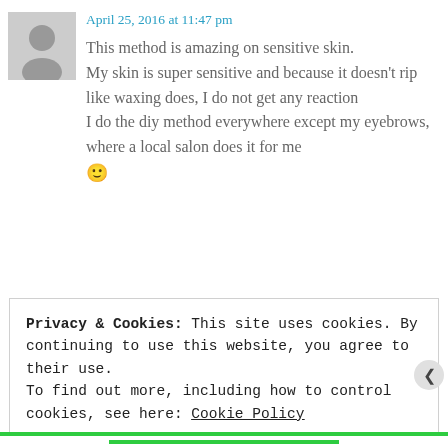April 25, 2016 at 11:47 pm
This method is amazing on sensitive skin. My skin is super sensitive and because it doesn't rip like waxing does, I do not get any reaction
I do the diy method everywhere except my eyebrows, where a local salon does it for me 🙂
Privacy & Cookies: This site uses cookies. By continuing to use this website, you agree to their use.
To find out more, including how to control cookies, see here: Cookie Policy
CLOSE AND ACCEPT